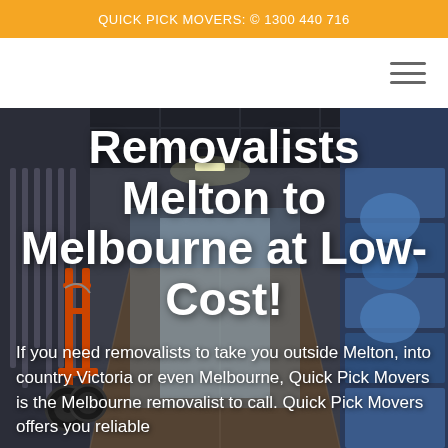QUICK PICK MOVERS: © 1300 440 716
[Figure (photo): Interior of a moving truck or warehouse with straps hanging on the left side, a hand truck/dolly with orange frame visible on the left, and blue storage items on the right wall.]
Removalists Melton to Melbourne at Low-Cost!
If you need removalists to take you outside Melton, into country Victoria or even Melbourne, Quick Pick Movers is the Melbourne removalist to call. Quick Pick Movers offers you reliable